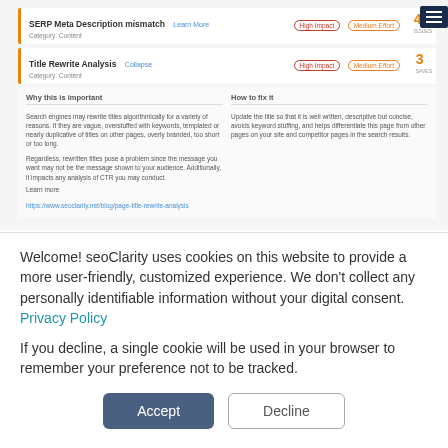SERP Meta Description mismatch Learn More | High Impact | Medium Effort | 4 ISSUES
Category: Content
Title Rewrite Analysis Collapse | High Impact | Medium Effort | 3 SAVES
Category: Content
Why this is important
Search engines may rewrite titles algorithmically for a variety of reasons. If they are vague, overstuffed with keywords, templated or nearly duplicative of titles on other pages, overly branded, too short or too long.

Regardless, rewritten titles pose a problem since the message you want may not be the message shown to your audience. Additionally, it impacts any analysis of CTR you may conduct.

Learn more
https://www.seoclarity.net/blog/page-title-rewrite-analysis
How to fix it
Update the title so that it is well written, descriptive but concise, avoids keyword stuffing, and helps differentiate this page from other pages on your site and competitor pages in the search results.
Welcome! seoClarity uses cookies on this website to provide a more user-friendly, customized experience. We don't collect any personally identifiable information without your digital consent.
Privacy Policy

If you decline, a single cookie will be used in your browser to remember your preference not to be tracked.